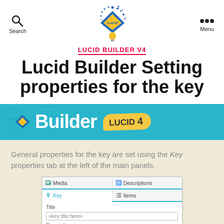Search | Lucid Builder V4 | Menu
[Figure (logo): Lucid Builder logo: diamond shape in blue with yellow 'Lucid' text and a lightbulb below]
LUCID BUILDER V4
Lucid Builder Setting properties for the key
[Figure (illustration): Lucid Builder V4 banner in teal/cyan with Builder text in white and 'LUCID 4' yellow badge]
General properties for the key are set using the Key properties tab at the left of the main panels.
[Figure (screenshot): Screenshot of Lucid Builder interface showing tabs: Media, Descriptions, Key, Items, with Title field containing '<key title here>' and Description label below]